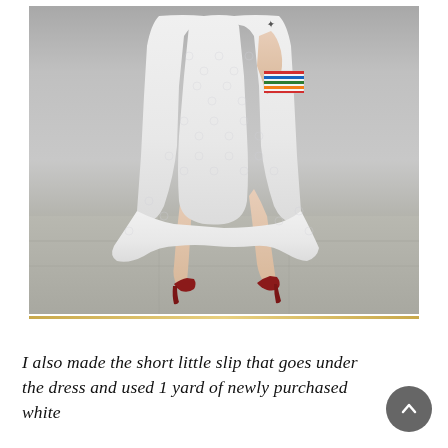[Figure (photo): Back view of a person wearing a white eyelet lace dress with a flared skirt, standing on a concrete sidewalk against a gray wall. They are holding a striped clutch bag and wearing dark red/burgundy high heel pumps. A tattoo is visible on their upper back/shoulder area.]
I also made the short little slip that goes under the dress and used 1 yard of newly purchased white